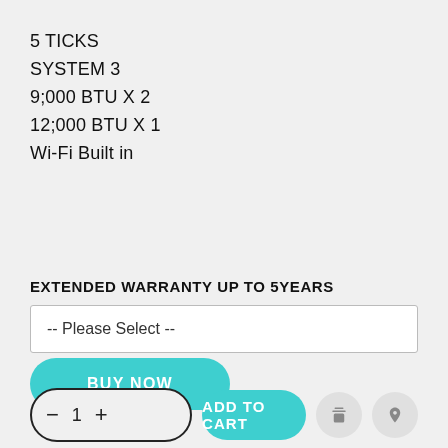5 TICKS
SYSTEM 3
9;000 BTU X 2
12;000 BTU X 1
Wi-Fi Built in
EXTENDED WARRANTY UP TO 5YEARS
-- Please Select --
BUY NOW
- 1 + ADD TO CART